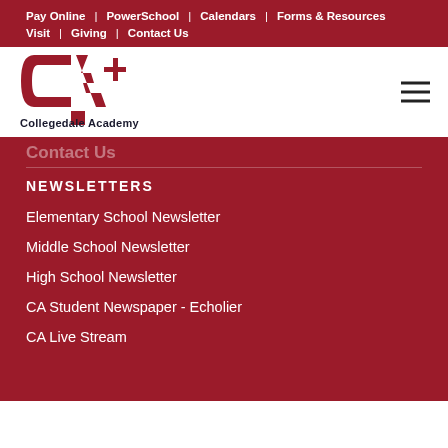Pay Online | PowerSchool | Calendars | Forms & Resources | Visit | Giving | Contact Us
[Figure (logo): Collegedale Academy logo with stylized CA and plus sign in dark red, with text 'Collegedale Academy' below]
Contact Us
NEWSLETTERS
Elementary School Newsletter
Middle School Newsletter
High School Newsletter
CA Student Newspaper - Echolier
CA Live Stream